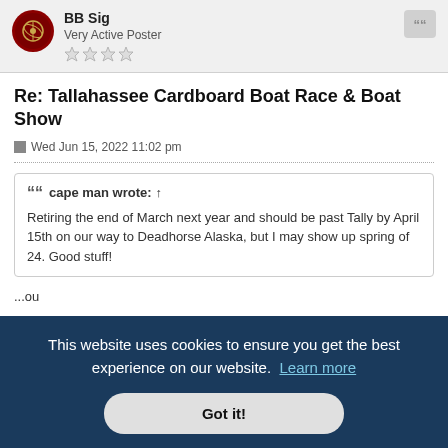BB Sig
Very Active Poster
Re: Tallahassee Cardboard Boat Race & Boat Show
Wed Jun 15, 2022 11:02 pm
cape man wrote: ↑
Retiring the end of March next year and should be past Tally by April 15th on our way to Deadhorse Alaska, but I may show up spring of 24. Good stuff!
This website uses cookies to ensure you get the best experience on our website. Learn more
Got it!